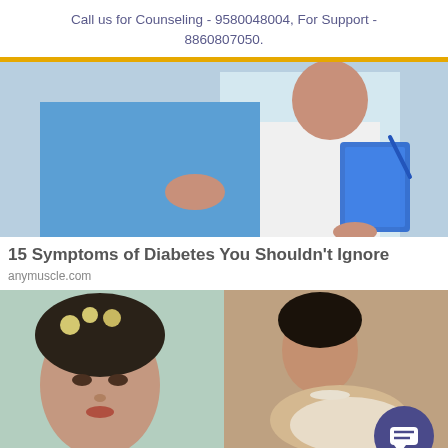Call us for Counseling - 9580048004, For Support - 8860807050.
[Figure (photo): A patient in a blue shirt holding his chest/stomach area while a doctor in white coat holds a clipboard/tablet]
15 Symptoms of Diabetes You Shouldn't Ignore
anymuscle.com
[Figure (photo): Two vintage/historical portrait photographs of women side by side - left shows a woman with flowers in dark hair against green background, right shows a woman reclining]